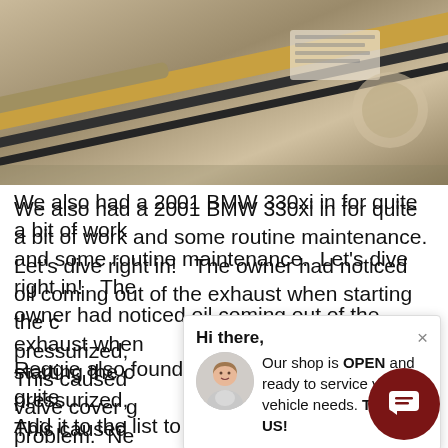[Figure (photo): Close-up photo of engine bay components, likely showing wiring/hoses against metal surfaces with yellowish/tan colored parts visible.]
We also had a 2001 BMW 330xi in for quite a bit of work and some routine maintenance.  Let's dive right in!   The owner had noticed oil coming out of the exhaust when starting the c[ar, the crankcase was being] pressurized, [which forced oil…] This caused [oil to leak past the] valve cover g[asket - a common] problem.  Ne[xt up, the valve] cover gasket will be replaced.
[Figure (screenshot): Chat popup overlay with avatar photo of a man, header text 'Hi there,' with close X button, and message 'Our shop is OPEN and ready to service your vehicle needs. TEXT US!']
Reggie also found that the intake hose was quite [cracked.] Add it to the list to replace!